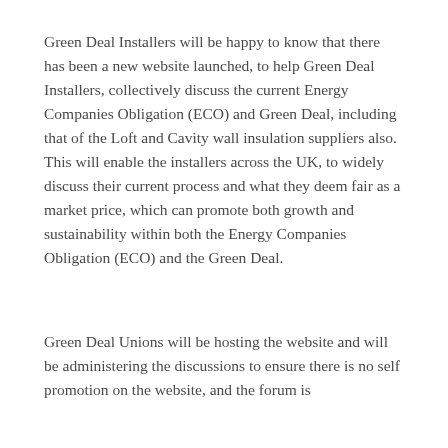Green Deal Installers will be happy to know that there has been a new website launched, to help Green Deal Installers, collectively discuss the current Energy Companies Obligation (ECO) and Green Deal, including that of the Loft and Cavity wall insulation suppliers also. This will enable the installers across the UK, to widely discuss their current process and what they deem fair as a market price, which can promote both growth and sustainability within both the Energy Companies Obligation (ECO) and the Green Deal.
Green Deal Unions will be hosting the website and will be administering the discussions to ensure there is no self promotion on the website, and the forum is